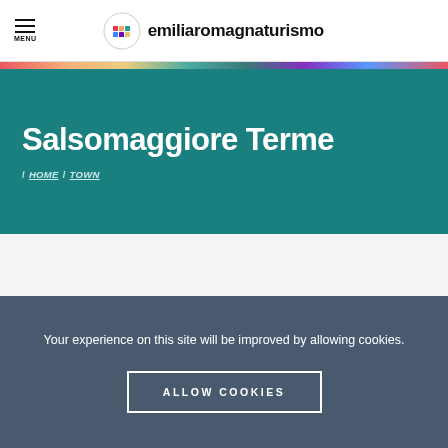MENU | emiliaromagnaturismo
Salsomaggiore Terme
/ HOME / TOWN
Your experience on this site will be improved by allowing cookies.
ALLOW COOKIES